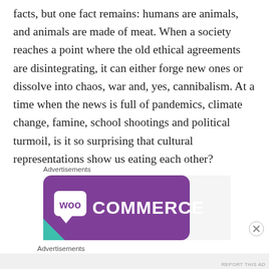facts, but one fact remains: humans are animals, and animals are made of meat. When a society reaches a point where the old ethical agreements are disintegrating, it can either forge new ones or dissolve into chaos, war and, yes, cannibalism. At a time when the news is full of pandemics, climate change, famine, school shootings and political turmoil, is it so surprising that cultural representations show us eating each other?
Advertisements
[Figure (logo): WooCommerce advertisement banner — purple background with white WooCommerce logo and speech bubble icon, teal accent in lower left corner]
Advertisements